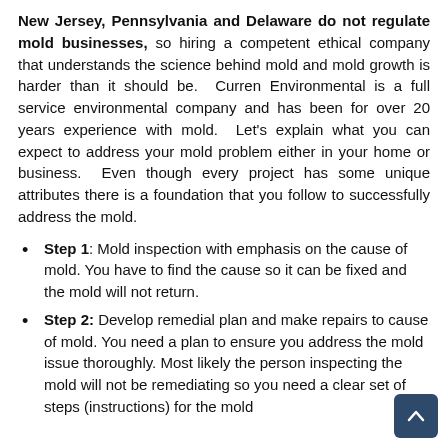New Jersey, Pennsylvania and Delaware do not regulate mold businesses, so hiring a competent ethical company that understands the science behind mold and mold growth is harder than it should be. Curren Environmental is a full service environmental company and has been for over 20 years experience with mold. Let's explain what you can expect to address your mold problem either in your home or business. Even though every project has some unique attributes there is a foundation that you follow to successfully address the mold.
Step 1: Mold inspection with emphasis on the cause of mold. You have to find the cause so it can be fixed and the mold will not return.
Step 2: Develop remedial plan and make repairs to cause of mold. You need a plan to ensure you address the mold issue thoroughly. Most likely the person inspecting the mold will not be remediating so you need a clear set of steps (instructions) for the mold...